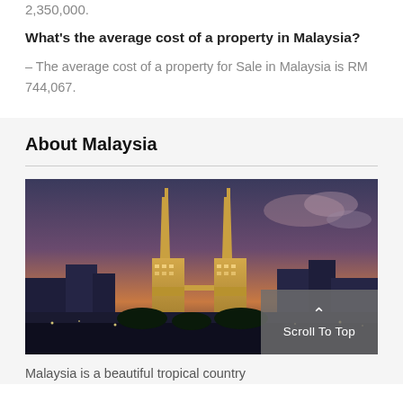2,350,000.
What's the average cost of a property in Malaysia?
– The average cost of a property for Sale in Malaysia is RM 744,067.
About Malaysia
[Figure (photo): Aerial night/dusk view of Kuala Lumpur skyline featuring the illuminated Petronas Twin Towers with city buildings and a dramatic sky in the background.]
Malaysia is a beautiful tropical country